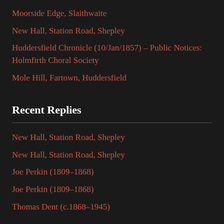Moorside Edge, Slaithwaite
New Hall, Station Road, Shepley
Huddersfield Chronicle (10/Jan/1857) – Public Notices: Holmfirth Choral Society
Mole Hill, Fartown, Huddersfield
Recent Replies
New Hall, Station Road, Shepley
New Hall, Station Road, Shepley
Joe Perkin (1809–1868)
Joe Perkin (1809–1868)
Thomas Dent (c.1868–1945)